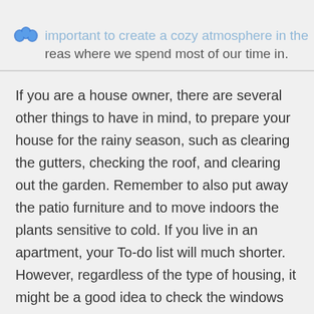important to create a cozy atmosphere in the areas where we spend most of our time in.
If you are a house owner, there are several other things to have in mind, to prepare your house for the rainy season, such as clearing the gutters, checking the roof, and clearing out the garden. Remember to also put away the patio furniture and to move indoors the plants sensitive to cold. If you live in an apartment, your To-do list will much shorter. However, regardless of the type of housing, it might be a good idea to check the windows to eliminate draught and to make sure no heat is escaping. Check the windows for gaps, in case you find any, self-adhesive foam might do the trick, otherwise, you can also call a professional to